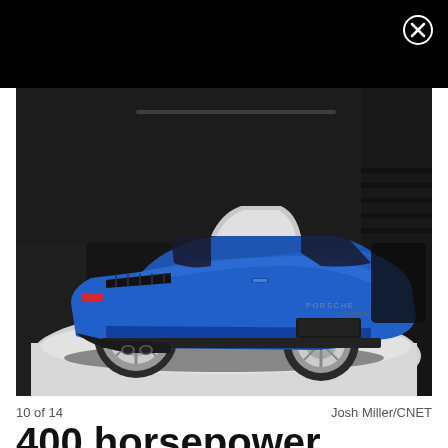[Figure (photo): Blue Porsche 911 Targa photographed from the rear three-quarter angle on a white show floor with dark background, displayed in a media gallery overlay with a black header bar and close button.]
10 of 14    Josh Miller/CNET
400 horsepower